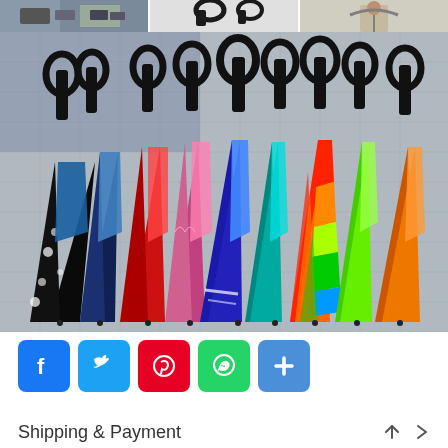[Figure (photo): Top strip showing three thumbnail images: a parking/street scene, an umbrella handle close-up, and a person holding an umbrella]
[Figure (photo): Main product photo showing multiple colorful inverted umbrellas with C-shaped handles standing upright on a tiled surface. Colors include black with white floral pattern, red, blue gradient, pink, royal blue, rainbow/multicolor, and orange]
[Figure (infographic): Social sharing buttons row: Facebook (blue), Twitter (light blue), Pinterest (red), WhatsApp (green), Share/More (blue with plus)]
Shipping & Payment